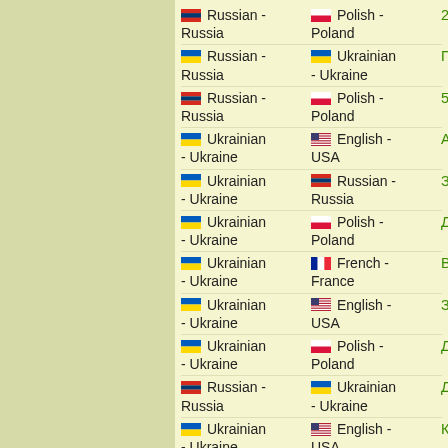Russian - Russia | Polish - Poland | 2 мая
Russian - Russia | Ukrainian - Ukraine | Половой
Russian - Russia | Polish - Poland | 5 мая
Ukrainian - Ukraine | English - USA | АТС код С0
Ukrainian - Ukraine | Russian - Russia | Зсув
Ukrainian - Ukraine | Polish - Poland | День
Ukrainian - Ukraine | French - France | Відправити
Ukrainian - Ukraine | English - USA | Зацікавити
Ukrainian - Ukraine | Polish - Poland | Дощ
Russian - Russia | Ukrainian - Ukraine | Доктор
Ukrainian - Ukraine | English - USA | Консольний
Polish - Poland | Russian - Russia | Rościągać